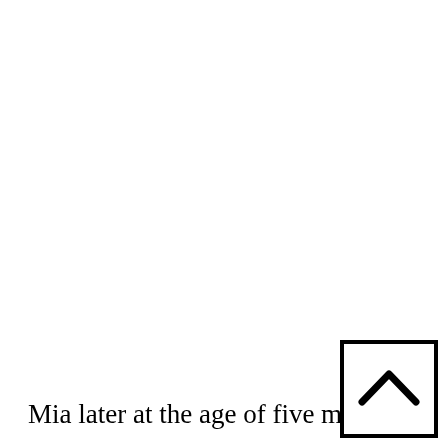Mia later at the age of five moved b
[Figure (other): A square button with a chevron/caret up arrow icon inside, positioned at the bottom-right corner of the page]